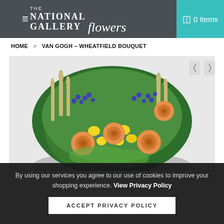THE NATIONAL GALLERY flowers — 0 Items
HOME > VAN GOGH – WHEATFIELD BOUQUET
[Figure (photo): Floral bouquet arrangement featuring orange roses, yellow freesias, blue agapanthus, and wheat stems against a light grey background. Navigation arrows visible top right.]
By using our services you agree to our use of cookies to improve your shopping experience. View Privacy Policy
ACCEPT PRIVACY POLICY